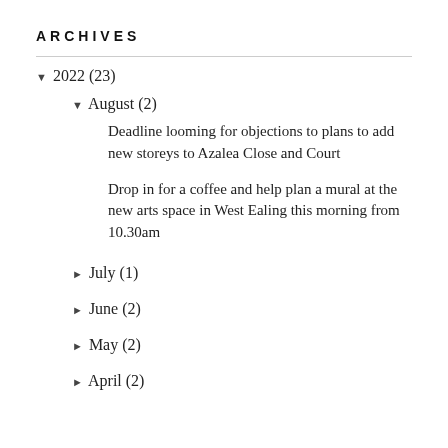ARCHIVES
▼ 2022 (23)
▼ August (2)
Deadline looming for objections to plans to add new storeys to Azalea Close and Court
Drop in for a coffee and help plan a mural at the new arts space in West Ealing this morning from 10.30am
► July (1)
► June (2)
► May (2)
► April (2)